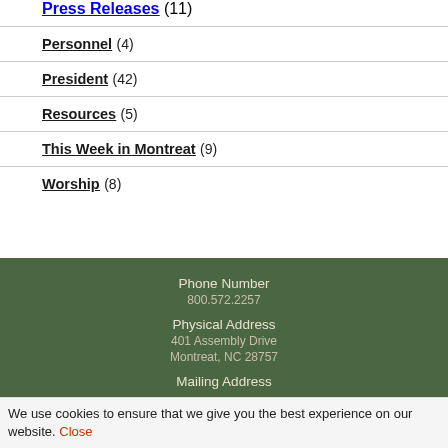Press Releases (11)
Personnel (4)
President (42)
Resources (5)
This Week in Montreat (9)
Worship (8)
Phone Number
800.572.2257
Physical Address
401 Assembly Drive
Montreat, NC 28757
Mailing Address
We use cookies to ensure that we give you the best experience on our website. Close